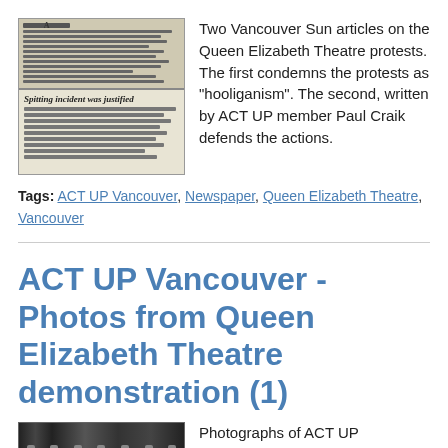[Figure (photo): Two scanned Vancouver Sun newspaper articles about Queen Elizabeth Theatre protests]
Two Vancouver Sun articles on the Queen Elizabeth Theatre protests. The first condemns the protests as "hooliganism". The second, written by ACT UP member Paul Craik defends the actions.
Tags: ACT UP Vancouver, Newspaper, Queen Elizabeth Theatre, Vancouver
ACT UP Vancouver - Photos from Queen Elizabeth Theatre demonstration (1)
[Figure (photo): Film strip or photograph thumbnail of ACT UP demonstration at Queen Elizabeth Theatre]
Photographs of ACT UP